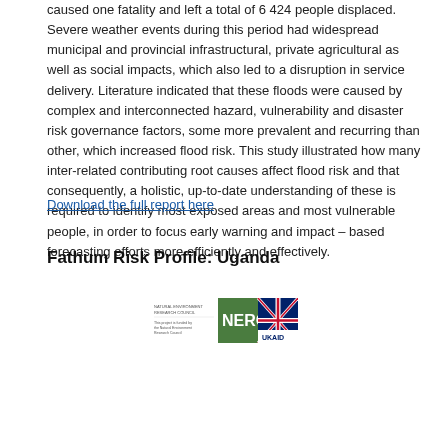caused one fatality and left a total of 6 424 people displaced. Severe weather events during this period had widespread municipal and provincial infrastructural, private agricultural as well as social impacts, which also led to a disruption in service delivery. Literature indicated that these floods were caused by complex and interconnected hazard, vulnerability and disaster risk governance factors, some more prevalent and recurring than other, which increased flood risk. This study illustrated how many inter-related contributing root causes affect flood risk and that consequently, a holistic, up-to-date understanding of these is required to identify most exposed areas and most vulnerable people, in order to focus early warning and impact – based forecasting efforts more efficiently and effectively.
Download the full report here
Fathum Risk Profile: Uganda
[Figure (logo): NERC and UKAID logo banner]